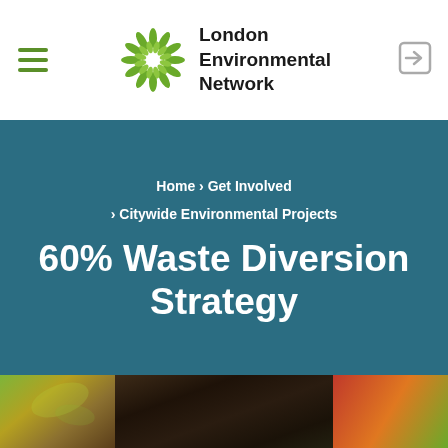[Figure (logo): London Environmental Network logo — a circular leaf/starburst icon in green, next to bold text 'London Environmental Network']
Home › Get Involved › Citywide Environmental Projects
60% Waste Diversion Strategy
[Figure (photo): Close-up photo of compost/organic waste material including vegetable scraps, soil, and a carrot]